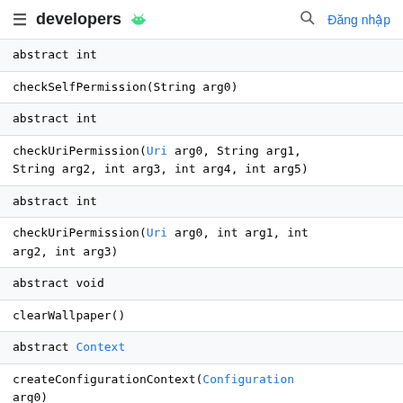developers
| abstract int |
| checkSelfPermission(String arg0) |
| abstract int |
| checkUriPermission(Uri arg0, String arg1, String arg2, int arg3, int arg4, int arg5) |
| abstract int |
| checkUriPermission(Uri arg0, int arg1, int arg2, int arg3) |
| abstract void |
| clearWallpaper() |
| abstract Context |
| createConfigurationContext(Configuration arg0) |
| abstract Context |